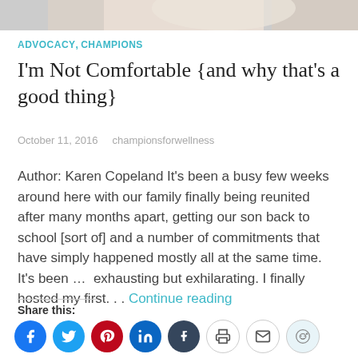[Figure (photo): Partial photo of a person's face/head cropped at top of page]
ADVOCACY, CHAMPIONS
I'm Not Comfortable {and why that's a good thing}
October 11, 2016    championsforwellness
Author: Karen Copeland It's been a busy few weeks around here with our family finally being reunited after many months apart, getting our son back to school [sort of] and a number of commitments that have simply happened mostly all at the same time. It's been …  exhausting but exhilarating. I finally hosted my first. . . Continue reading
Share this: